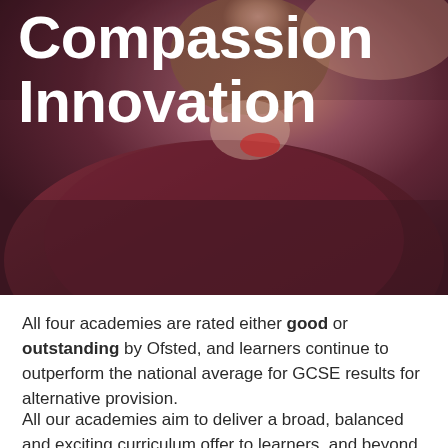[Figure (photo): Close-up photo of a young person wearing a dark maroon/burgundy knitted sweater, face partially visible, with a blurred warm background. The image is overlaid with large white bold text reading 'Compassion Innovation'.]
Compassion Innovation
All four academies are rated either good or outstanding by Ofsted, and learners continue to outperform the national average for GCSE results for alternative provision.
All our academies aim to deliver a broad, balanced and exciting curriculum offer to learners, and beyond that we